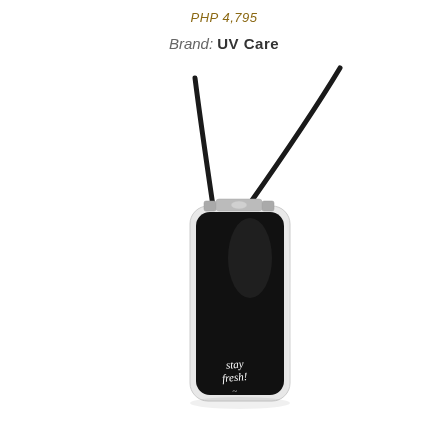PHP 4,795
Brand: UV Care
[Figure (photo): UV Care wearable UV sanitizer device with a black lanyard cord attached to the top. The device resembles a pendant or tag shape with a predominantly black glossy front face, silver/white edges, and shows 'stay fresh!' text in cursive at the bottom. The lanyard cord loops upward from the top attachment point.]